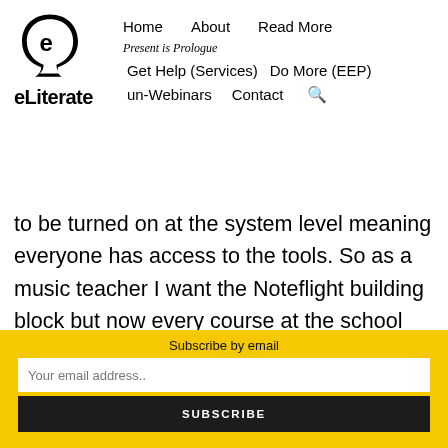[Figure (logo): eLiterate logo: stylized 'e' inside a head silhouette, black and white]
eLiterate   Home   About   Read More   Present is Prologue   Get Help (Services)   Do More (EEP)   un-Webinars   Contact
to be turned on at the system level meaning everyone has access to the tools. So as a music teacher I want the Noteflight building block but now every course at the school will see it. You add 5-10
Subscribe by email
Your email address..
SUBSCRIBE